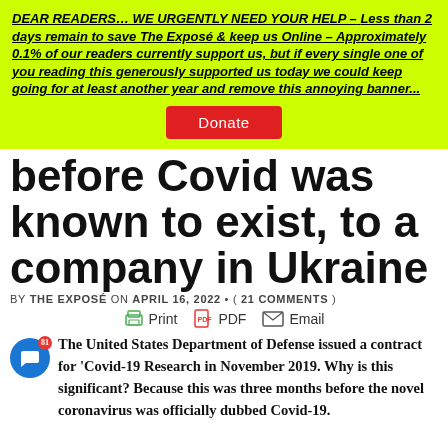DEAR READERS… WE URGENTLY NEED YOUR HELP – Less than 2 days remain to save The Exposé & keep us Online – Approximately 0.1% of our readers currently support us, but if every single one of you reading this generously supported us today we could keep going for at least another year and remove this annoying banner...
Donate
before Covid was known to exist, to a company in Ukraine
BY THE EXPOSÉ ON APRIL 16, 2022 • ( 21 COMMENTS )
Print PDF Email
The United States Department of Defense issued a contract for 'Covid-19 Research in November 2019. Why is this significant? Because this was three months before the novel coronavirus was officially dubbed Covid-19.